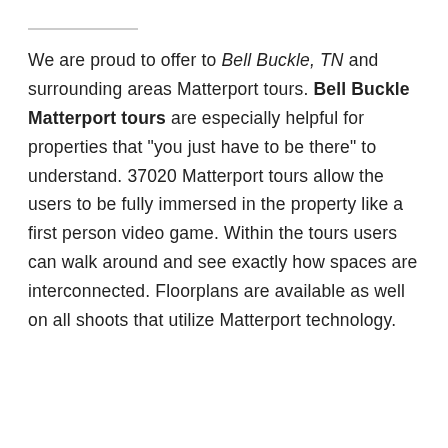We are proud to offer to Bell Buckle, TN and surrounding areas Matterport tours. Bell Buckle Matterport tours are especially helpful for properties that "you just have to be there" to understand. 37020 Matterport tours allow the users to be fully immersed in the property like a first person video game. Within the tours users can walk around and see exactly how spaces are interconnected. Floorplans are available as well on all shoots that utilize Matterport technology.